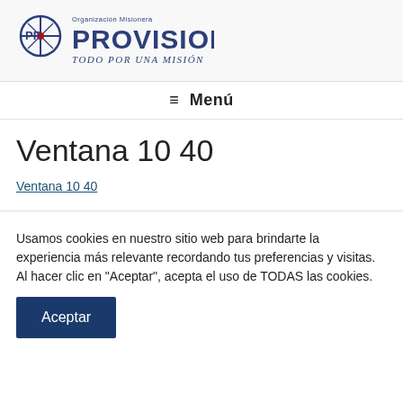[Figure (logo): ProVision logo with globe/crosshair icon, text 'PROVISION' and tagline 'TODO POR UNA MISIÓN']
≡ Menú
Ventana 10 40
Ventana 10 40
Usamos cookies en nuestro sitio web para brindarte la experiencia más relevante recordando tus preferencias y visitas. Al hacer clic en "Aceptar", acepta el uso de TODAS las cookies.
Aceptar